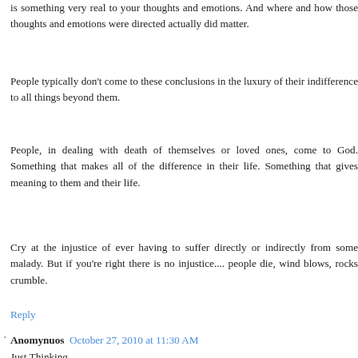is something very real to your thoughts and emotions. And where and how those thoughts and emotions were directed actually did matter.
People typically don't come to these conclusions in the luxury of their indifference to all things beyond them.
People, in dealing with death of themselves or loved ones, come to God. Something that makes all of the difference in their life. Something that gives meaning to them and their life.
Cry at the injustice of ever having to suffer directly or indirectly from some malady. But if you're right there is no injustice.... people die, wind blows, rocks crumble.
Reply
Anomynuos October 27, 2010 at 11:30 AM
Just Thinking,
So much of what you say is so removed from the human...